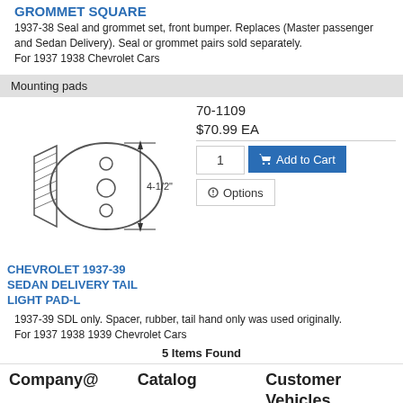GROMMET SQUARE
1937-38 Seal and grommet set, front bumper. Replaces (Master passenger and Sedan Delivery). Seal or grommet pairs sold separately.
For 1937 1938 Chevrolet Cars
Mounting pads
[Figure (illustration): Technical illustration of an oval mounting pad with two small circles (holes) and an arrow indicating 4-1/2" height dimension]
CHEVROLET 1937-39 SEDAN DELIVERY TAIL LIGHT PAD-L
70-1109
$70.99 EA
1937-39 SDL only. Spacer, rubber, tail hand only was used originally.
For 1937 1938 1939 Chevrolet Cars
5 Items Found
Company@
Catalog
Customer Vehicles
About Us
Shop Online
Vehicle Showcase
Directions
Online Catalog
Featured Vehicles